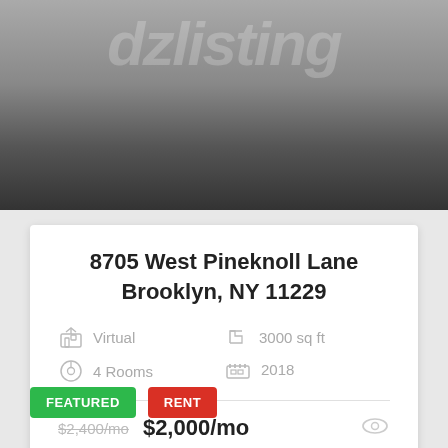[Figure (photo): Hero image area with dark gradient background and watermark text 'dzlisting']
8705 West Pineknoll Lane Brooklyn, NY 11229
Virtual | 3000 sq ft | 4 Rooms | 2018
$2,400/mo $2,000/mo
FEATURED
RENT